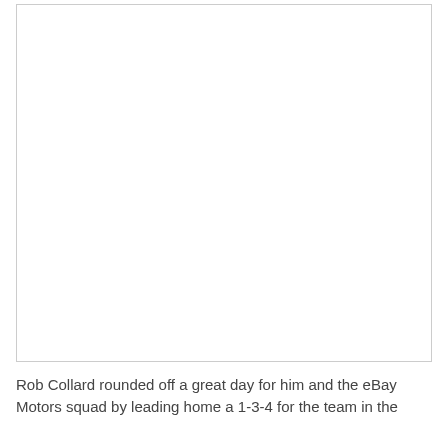[Figure (photo): Large white/blank image area with a thin border, likely a photograph placeholder or cropped image area.]
Rob Collard rounded off a great day for him and the eBay Motors squad by leading home a 1-3-4 for the team in the